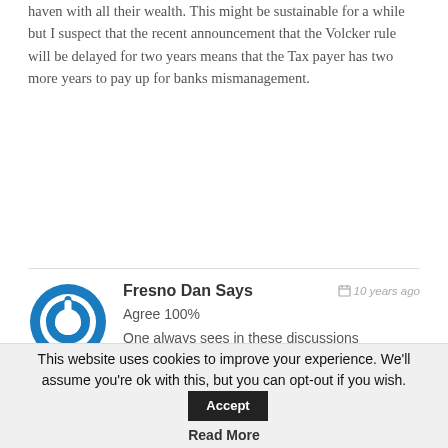haven with all their wealth.  This might be sustainable for a while but I suspect that the recent announcement that the Volcker rule will be delayed for two years means that the Tax payer has two more years to pay up for banks mismanagement.
Fresno Dan Says
10 years ago
Agree 100%
One always sees in these discussions generalized comments and formulas.  I agree IF there were debts declining through inflation while wages were increasing, that those two things together would more rapidly reduce debt.  But other than finance, how many industries are doing well (and please, let's use 2005 – or any specific year –
This website uses cookies to improve your experience. We'll assume you're ok with this, but you can opt-out if you wish. Accept Read More